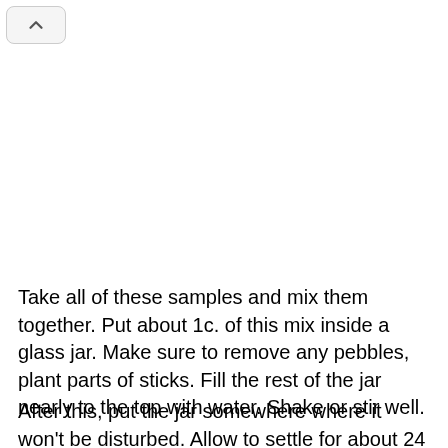Take all of these samples and mix them together. Put about 1c. of this mix inside a glass jar. Make sure to remove any pebbles, plant parts of sticks. Fill the rest of the jar nearly to the top with water. Shake or stir well.
After this, put the jar somewhere where it won't be disturbed. Allow to settle for about 24 hours. During this time, you will notice layers beginning to form. The